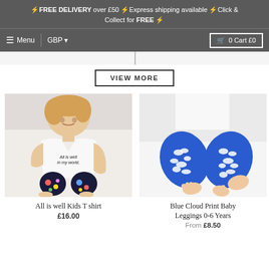⚡FREE DELIVERY over £50 ⚡Express shipping available ⚡Click & Collect for FREE ⚡
☰ Menu | GBP ▼   🛒 0 Cart £0
VIEW MORE
[Figure (photo): Child wearing white 'All is well in my world' t-shirt and colorful planet-print leggings, seated]
All is well Kids T shirt
£16.00
[Figure (photo): Baby wearing blue and white cloud print leggings, close-up of legs on white background]
Blue Cloud Print Baby Leggings 0-6 Years
From £8.50